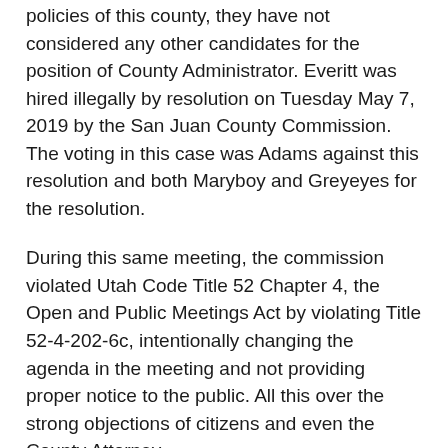policies of this county, they have not considered any other candidates for the position of County Administrator. Everitt was hired illegally by resolution on Tuesday May 7, 2019 by the San Juan County Commission. The voting in this case was Adams against this resolution and both Maryboy and Greyeyes for the resolution.
During this same meeting, the commission violated Utah Code Title 52 Chapter 4, the Open and Public Meetings Act by violating Title 52-4-202-6c, intentionally changing the agenda in the meeting and not providing proper notice to the public. All this over the strong objections of citizens and even the County Attorney.
I have been called rude and cruel and racist because I demand that we follow proper procedure and Utah law in our commission meetings—with commissioners who happen to